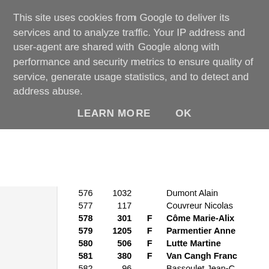This site uses cookies from Google to deliver its services and to analyze traffic. Your IP address and user-agent are shared with Google along with performance and security metrics to ensure quality of service, generate usage statistics, and to detect and address abuse.
LEARN MORE   OK
| Rank | BIB | F | Name |
| --- | --- | --- | --- |
| 576 | 1032 |  | Dumont Alain |
| 577 | 117 |  | Couvreur Nicolas |
| 578 | 301 | F | Côme Marie-Alix |
| 579 | 1205 | F | Parmentier Anne |
| 580 | 506 | F | Lutte Martine |
| 581 | 380 | F | Van Cangh Franc… |
| 582 | 96 |  | Bassoulet Jean-C… |
| 583 | 26 | F | Marion Lindsay |
| 584 | 293 | F | Vallery Françoise |
| 585 | 1279 | F | Raguzzi Nadia |
| 586 | 909 |  | Sepulchre Michae… |
| 587 | 224 | F | Fanuel Paulette |
| 588 | 1236 | F | Thys Vanessa |
| 589 | 126 | F | George Amandine |
| 590 | 1301 | F | Ingabire Marie In… |
| 591 | 1375 | F | Mignon Sophie |